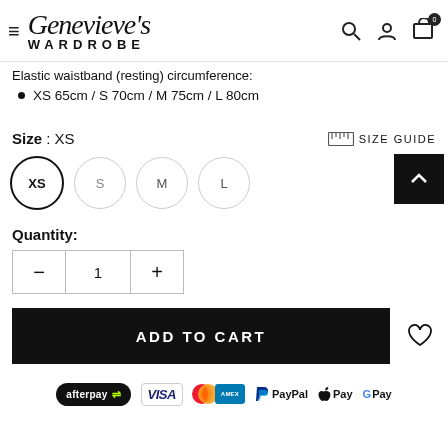Genevieve's WARDROBE
Elastic waistband (resting) circumference:
XS 65cm / S 70cm / M 75cm / L 80cm
Size : XS
SIZE GUIDE
[Figure (screenshot): Size selector with XS selected (bold outlined circle), S, M, L options as circles]
Quantity:
[Figure (screenshot): Quantity control with minus button, value 1, plus button]
[Figure (screenshot): ADD TO CART black button]
[Figure (screenshot): Payment method icons: afterpay, Visa, Mastercard, Amex, PayPal, Apple Pay, Google Pay]